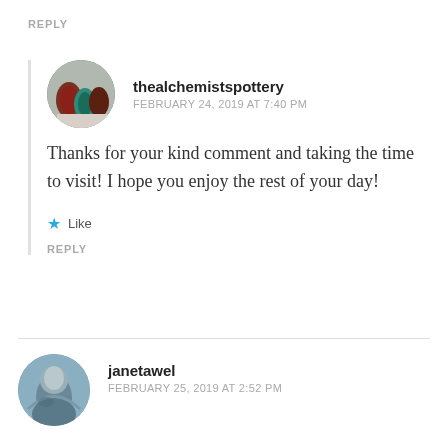REPLY
thealchemistspottery
FEBRUARY 24, 2019 AT 7:40 PM
Thanks for your kind comment and taking the time to visit! I hope you enjoy the rest of your day!
Like
REPLY
janetawel
FEBRUARY 25, 2019 AT 2:52 PM